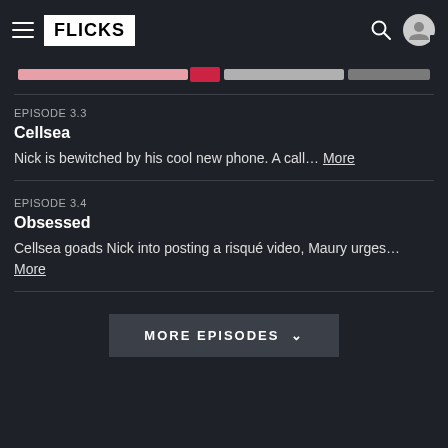FLICKS
[Figure (other): Progress bar / slider UI element with pink, red, and gray segments]
EPISODE 3.3
Cellsea
Nick is bewitched by his cool new phone. A call… More
EPISODE 3.4
Obsessed
Cellsea goads Nick into posting a risqué video, Maury urges… More
MORE EPISODES ∨